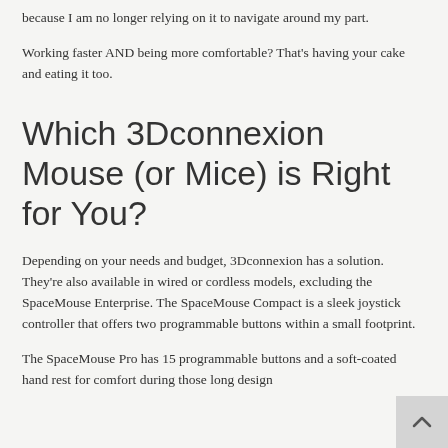because I am no longer relying on it to navigate around my part.
Working faster AND being more comfortable? That's having your cake and eating it too.
Which 3Dconnexion Mouse (or Mice) is Right for You?
Depending on your needs and budget, 3Dconnexion has a solution. They're also available in wired or cordless models, excluding the SpaceMouse Enterprise. The SpaceMouse Compact is a sleek joystick controller that offers two programmable buttons within a small footprint.
The SpaceMouse Pro has 15 programmable buttons and a soft-coated hand rest for comfort during those long design